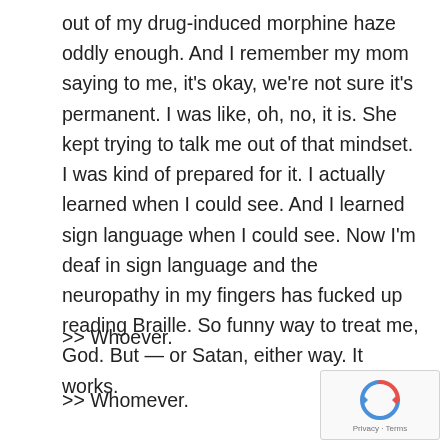out of my drug-induced morphine haze oddly enough.  And I remember my mom saying to me, it's okay, we're not sure it's permanent.  I was like, oh, no, it is.  She kept trying to talk me out of that mindset.  I was kind of prepared for it.  I actually learned when I could see.  And I learned sign language when I could see.  Now I'm deaf in sign language and the neuropathy in my fingers has fucked up reading Braille.  So funny way to treat me, God.  But — or Satan, either way.  It works.
>> Whoever.
>> Whomever.
[Figure (logo): reCAPTCHA logo with Privacy and Terms label]